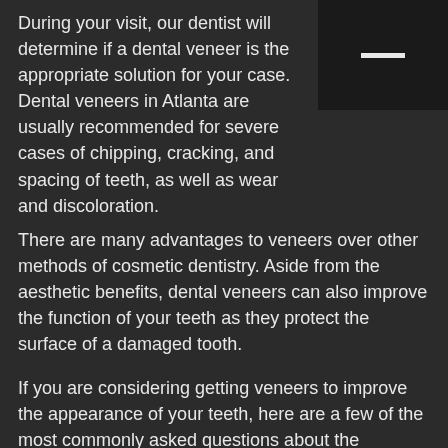During your visit, our dentist will determine if a dental veneer is the appropriate solution for your case. Dental veneers in Atlanta are usually recommended for severe cases of chipping, cracking, and spacing of teeth, as well as wear and discoloration.
There are many advantages to veneers over other methods of cosmetic dentistry. Aside from the aesthetic benefits, dental veneers can also improve the function of your teeth as they protect the surface of a damaged tooth.
If you are considering getting veneers to improve the appearance of your teeth, here are a few of the most commonly asked questions about the procedure, which may help you in your decision.
What exactly are veneers?